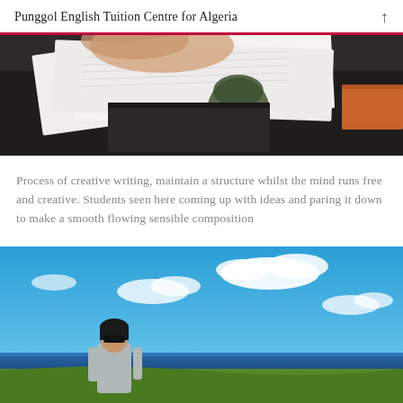Punggol English Tuition Centre for Algeria
[Figure (photo): Close-up photo of a student's hands writing on paper worksheets on a dark desk, with a green water bottle and orange book visible]
Process of creative writing, maintain a structure whilst the mind runs free and creative. Students seen here coming up with ideas and paring it down to make a smooth flowing sensible composition
[Figure (photo): A woman wearing sunglasses and a grey jacket standing on a green hillside with blue ocean and bright blue sky with white clouds in the background]